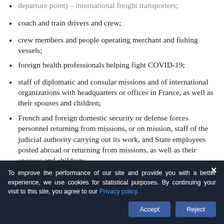departure point) – international freight transporters;
coach and train drivers and crew;
crew members and people operating merchant and fishing vessels;
foreign health professionals helping fight COVID-19;
staff of diplomatic and consular missions and of international organizations with headquarters or offices in France, as well as their spouses and children;
French and foreign domestic security or defense forces personnel returning from missions, or on mission, staff of the judicial authority carrying out its work, and State employees posted abroad or returning from missions, as well as their spouses and children;
cross-border workers;
people with compelling family reasons (travel justified…
To improve the performance of our site and provide you with a better experience, we use cookies for statistical purposes. By continuing your visit to this site, you agree to our Privacy policy.